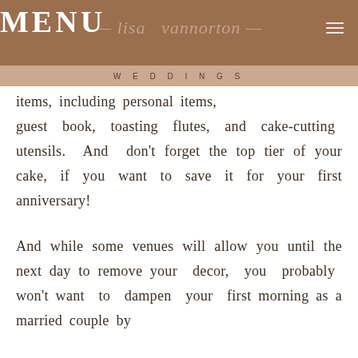MENU — lisa vannorton WEDDINGS
items, including personal items, guest book, toasting flutes, and cake-cutting utensils. And don't forget the top tier of your cake, if you want to save it for your first anniversary!
And while some venues will allow you until the next day to remove your decor, you probably won't want to dampen your first morning as a married couple by